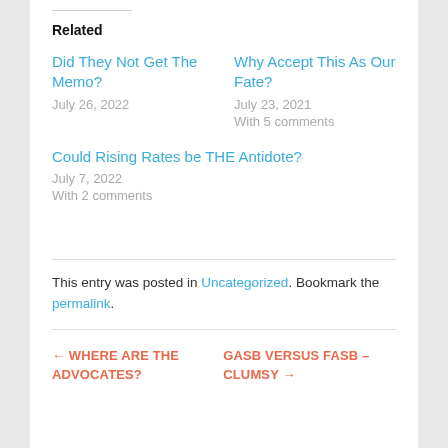Related
Did They Not Get The Memo?
July 26, 2022
Why Accept This As Our Fate?
July 23, 2021
With 5 comments
Could Rising Rates be THE Antidote?
July 7, 2022
With 2 comments
This entry was posted in Uncategorized. Bookmark the permalink.
← WHERE ARE THE ADVOCATES?
GASB VERSUS FASB – CLUMSY →